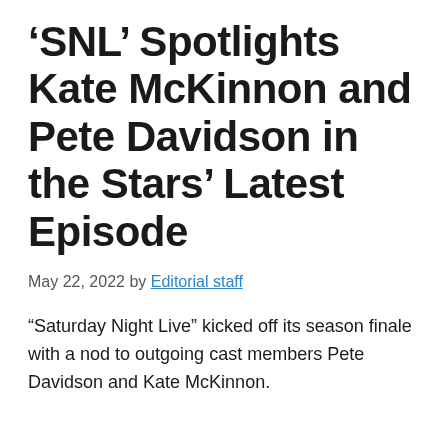‘SNL’ Spotlights Kate McKinnon and Pete Davidson in the Stars’ Latest Episode
May 22, 2022 by Editorial staff
“Saturday Night Live” kicked off its season finale with a nod to outgoing cast members Pete Davidson and Kate McKinnon.